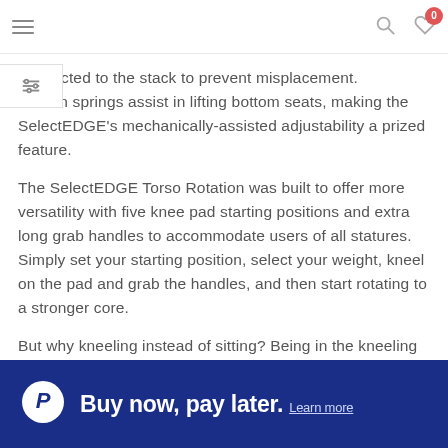Navigation header with hamburger menu, search icon, heart icon with badge 0
connected to the stack to prevent misplacement. Hidden springs assist in lifting bottom seats, making the SelectEDGE’s mechanically-assisted adjustability a prized feature.
The SelectEDGE Torso Rotation was built to offer more versatility with five knee pad starting positions and extra long grab handles to accommodate users of all statures. Simply set your starting position, select your weight, kneel on the pad and grab the handles, and then start rotating to a stronger core.
But why kneeling instead of sitting? Being in the kneeling
Buy now, pay later. Learn more